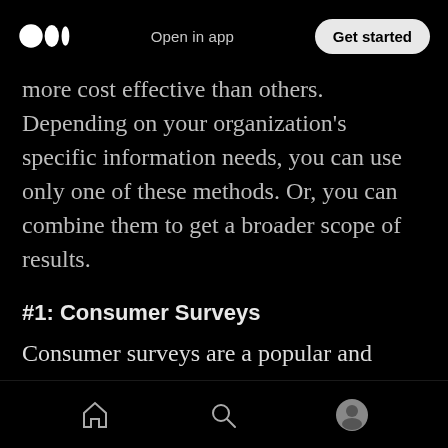Open in app | Get started
more cost effective than others. Depending on your organization's specific information needs, you can use only one of these methods. Or, you can combine them to get a broader scope of results.
#1: Consumer Surveys
Consumer surveys are a popular and widely used form of market research that is very affordable to conduct. The versatility of these surveys allows researchers to gather vast amounts of organized information rapidly. It quickly analyzed this information to produce
Home | Search | Profile